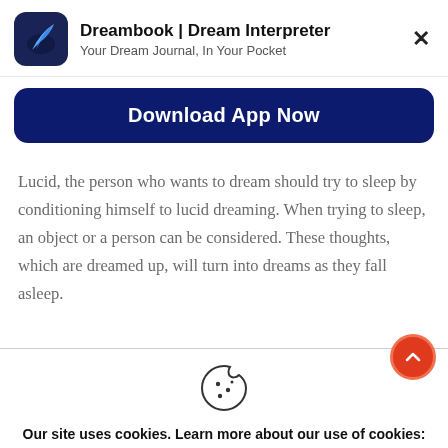[Figure (logo): Dreambook app icon — dark navy book with blue feather quill]
Dreambook | Dream Interpreter
Your Dream Journal, In Your Pocket
Download App Now
Lucid, the person who wants to dream should try to sleep by conditioning himself to lucid dreaming. When trying to sleep, an object or a person can be considered. These thoughts, which are dreamed up, will turn into dreams as they fall asleep.
[Figure (illustration): Cookie icon — circle with bite taken out and dots representing chocolate chips]
Our site uses cookies. Learn more about our use of cookies: cookie policy
ACCEPT
REJECT